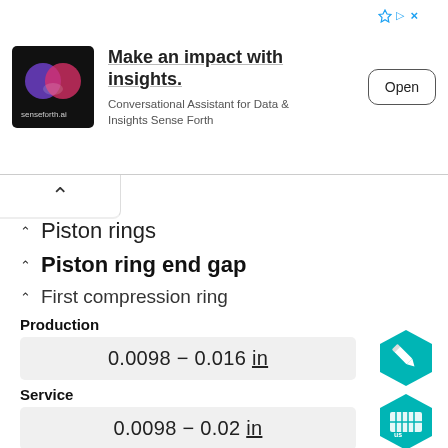[Figure (other): Advertisement banner: senseforth.ai logo, headline 'Make an impact with insights.', subtext 'Conversational Assistant for Data & Insights Sense Forth', Open button]
Piston rings
Piston ring end gap
First compression ring
Production
0.0098 – 0.016 in
Service
0.0098 – 0.02 in